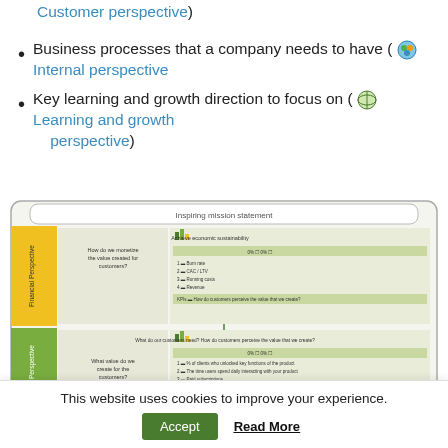Customer perspective)
Business processes that a company needs to have (🔵 Internal perspective
Key learning and growth direction to focus on (🌐 Learning and growth perspective)
[Figure (screenshot): Balanced scorecard diagram showing 'Inspiring mission statement' with Financial Perspective and Customer Perspective rows, each containing objectives, metrics, and linked questions about value creation for customers.]
This website uses cookies to improve your experience.
Accept   Read More